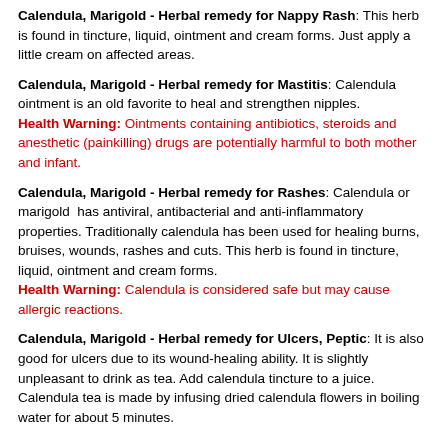Calendula, Marigold - Herbal remedy for Nappy Rash: This herb is found in tincture, liquid, ointment and cream forms. Just apply a little cream on affected areas.
Calendula, Marigold - Herbal remedy for Mastitis: Calendula ointment is an old favorite to heal and strengthen nipples. Health Warning: Ointments containing antibiotics, steroids and anesthetic (painkilling) drugs are potentially harmful to both mother and infant.
Calendula, Marigold - Herbal remedy for Rashes: Calendula or marigold has antiviral, antibacterial and anti-inflammatory properties. Traditionally calendula has been used for healing burns, bruises, wounds, rashes and cuts. This herb is found in tincture, liquid, ointment and cream forms. Health Warning: Calendula is considered safe but may cause allergic reactions.
Calendula, Marigold - Herbal remedy for Ulcers, Peptic: It is also good for ulcers due to its wound-healing ability. It is slightly unpleasant to drink as tea. Add calendula tincture to a juice. Calendula tea is made by infusing dried calendula flowers in boiling water for about 5 minutes.